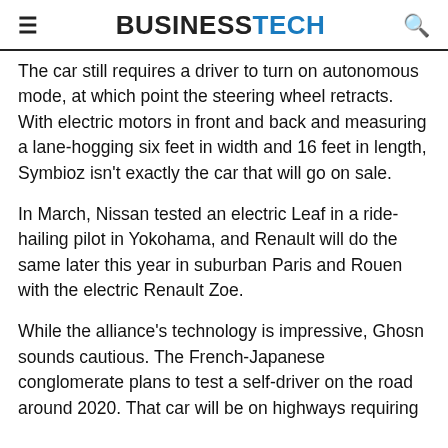BUSINESSTECH
The car still requires a driver to turn on autonomous mode, at which point the steering wheel retracts. With electric motors in front and back and measuring a lane-hogging six feet in width and 16 feet in length, Symbioz isn’t exactly the car that will go on sale.
In March, Nissan tested an electric Leaf in a ride-hailing pilot in Yokohama, and Renault will do the same later this year in suburban Paris and Rouen with the electric Renault Zoe.
While the alliance’s technology is impressive, Ghosn sounds cautious. The French-Japanese conglomerate plans to test a self-driver on the road around 2020. That car will be on highways requiring